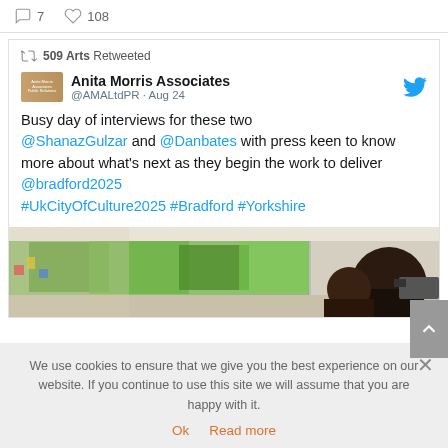7   108
509 Arts Retweeted
Anita Morris Associates
@AMALtdPR · Aug 24
Busy day of interviews for these two @ShanazGulzar and @Danbates with press keen to know more about what's next as they begin the work to deliver @bradford2025 #UkCityOfCulture2025 #Bradford #Yorkshire
[Figure (photo): Photo of people in a room with large windows and green trees visible outside, one person holding a camera.]
We use cookies to ensure that we give you the best experience on our website. If you continue to use this site we will assume that you are happy with it.
Ok   Read more